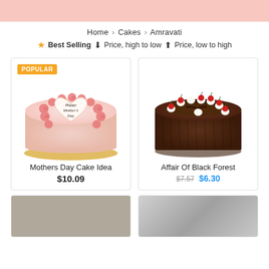Home › Cakes › Amravati
★ Best Selling ↓ Price, high to low ↑ Price, low to high
[Figure (photo): Mothers Day Cake with pink rosette swirls and a heart-shaped plaque reading Happy Mothers Day, labeled POPULAR]
Mothers Day Cake Idea
$10.09
[Figure (photo): Black Forest cake with chocolate shavings, whipped cream rosettes, and cherries on top]
Affair Of Black Forest
$7.57 $6.30
[Figure (photo): Partially visible cake product card at bottom left]
[Figure (photo): Partially visible cake product card at bottom right, silver/gray cake]